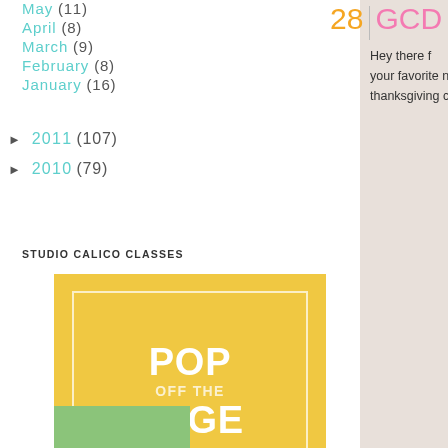May (11)
April (8)
March (9)
February (8)
January (16)
2011 (107)
2010 (79)
STUDIO CALICO CLASSES
[Figure (illustration): Yellow square banner with white border reading POP OFF THE PAGE with Jen Jockisch]
28
GCD
Hey there f
your favorite n
thanksgiving ca
[Figure (illustration): Partial green image with number at bottom of page]